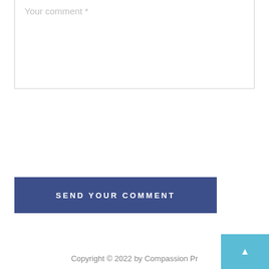Your comment *
SEND YOUR COMMENT
Copyright © 2022 by Compassion Pr